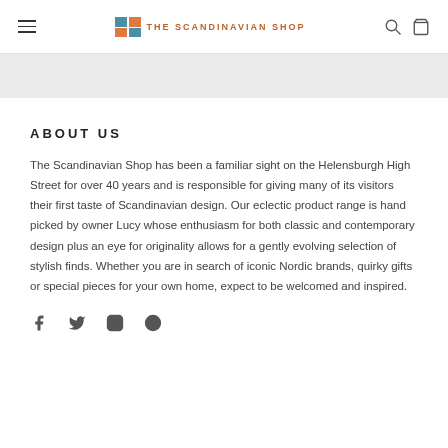THE SCANDINAVIAN SHOP
ABOUT US
The Scandinavian Shop has been a familiar sight on the Helensburgh High Street for over 40 years and is responsible for giving many of its visitors their first taste of Scandinavian design. Our eclectic product range is hand picked by owner Lucy whose enthusiasm for both classic and contemporary design plus an eye for originality allows for a gently evolving selection of stylish finds. Whether you are in search of iconic Nordic brands, quirky gifts or special pieces for your own home, expect to be welcomed and inspired.
[Figure (illustration): Social media icons: Facebook, Twitter, Instagram, Pinterest]